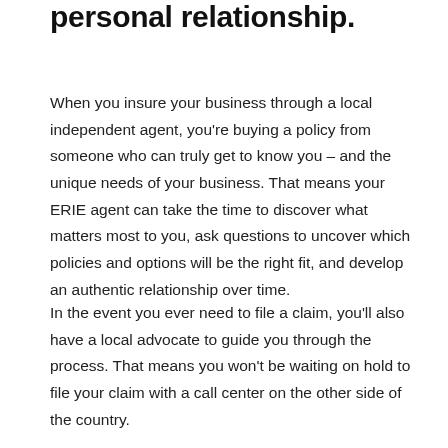personal relationship.
When you insure your business through a local independent agent, you're buying a policy from someone who can truly get to know you – and the unique needs of your business. That means your ERIE agent can take the time to discover what matters most to you, ask questions to uncover which policies and options will be the right fit, and develop an authentic relationship over time.
In the event you ever need to file a claim, you'll also have a local advocate to guide you through the process. That means you won't be waiting on hold to file your claim with a call center on the other side of the country.